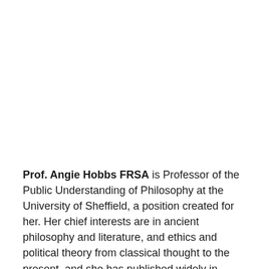Prof. Angie Hobbs FRSA is Professor of the Public Understanding of Philosophy at the University of Sheffield, a position created for her. Her chief interests are in ancient philosophy and literature, and ethics and political theory from classical thought to the present, and she has published widely in these areas, including Plato and the Hero. Her most recent publication for the general public is Plato's Republic: a Ladybird Expert Book. She contributes regularly to radio and TV